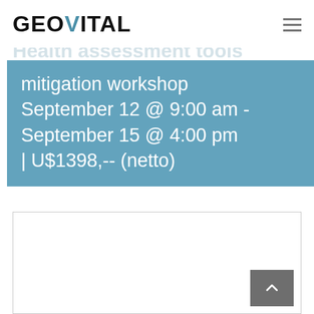GEOVITAL
mitigation workshop September 12 @ 9:00 am - September 15 @ 4:00 pm | U$1398,-- (netto)
[Figure (other): Empty white bordered content box with a grey scroll-to-top arrow button in the bottom right corner]